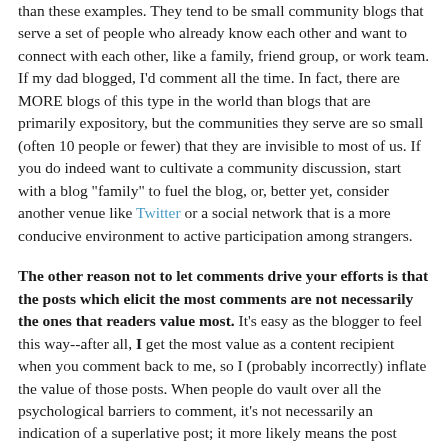than these examples. They tend to be small community blogs that serve a set of people who already know each other and want to connect with each other, like a family, friend group, or work team. If my dad blogged, I'd comment all the time. In fact, there are MORE blogs of this type in the world than blogs that are primarily expository, but the communities they serve are so small (often 10 people or fewer) that they are invisible to most of us. If you do indeed want to cultivate a community discussion, start with a blog "family" to fuel the blog, or, better yet, consider another venue like Twitter or a social network that is a more conducive environment to active participation among strangers.
The other reason not to let comments drive your efforts is that the posts which elicit the most comments are not necessarily the ones that readers value most. It's easy as the blogger to feel this way--after all, I get the most value as a content recipient when you comment back to me, so I (probably incorrectly) inflate the value of those posts. When people do vault over all the psychological barriers to comment, it's not necessarily an indication of a superlative post; it more likely means the post induces a strong reaction